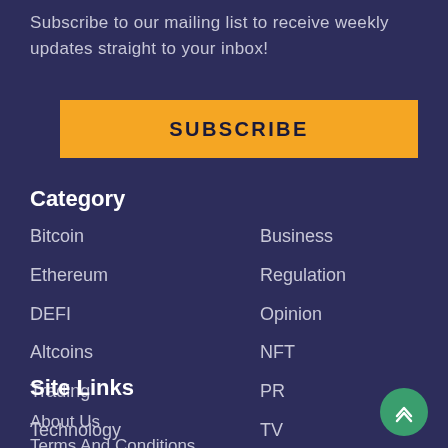Subscribe to our mailing list to receive weekly updates straight to your inbox!
SUBSCRIBE
Category
Bitcoin
Ethereum
DEFI
Altcoins
Trading
Technology
Business
Regulation
Opinion
NFT
PR
TV
Site Links
About Us
Terms And Conditions